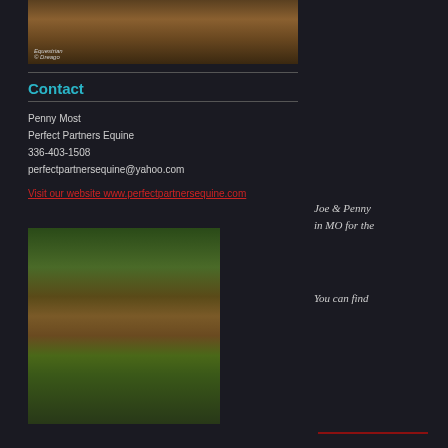[Figure (photo): Partial photo of people on horseback, cropped at top]
Contact
Penny Most
Perfect Partners Equine
336-403-1508
perfectpartnersequine@yahoo.com
Visit our website www.perfectpartnersequine.com
[Figure (photo): Group of four horseback riders on a trail through green pasture and trees]
Joe & Penny
in MO for the
You can find